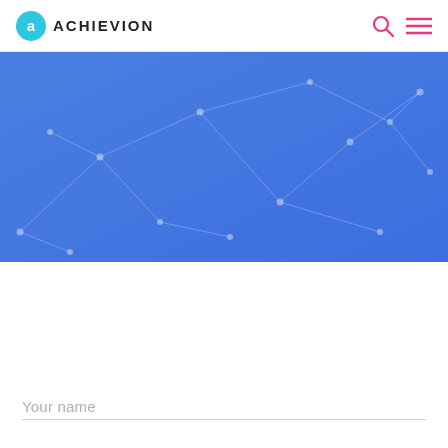ACHIEVION
[Figure (illustration): Blue hero banner with network/constellation pattern overlay — connected dots and lines on a blue gradient background.]
Your name